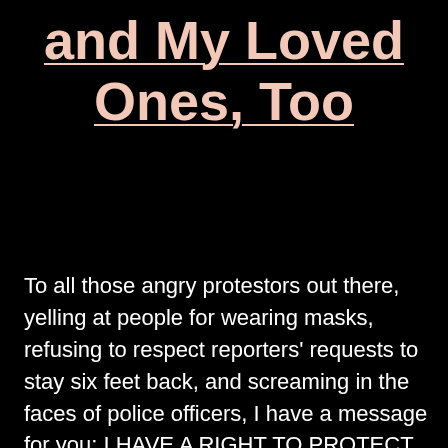and My Loved Ones, Too
To all those angry protestors out there, yelling at people for wearing masks, refusing to respect reporters' requests to stay six feet back, and screaming in the faces of police officers, I have a message for you: I HAVE A RIGHT TO PROTECT MYSELF AND MY FAMILY, TOO.  If I want to wear a mask [...]